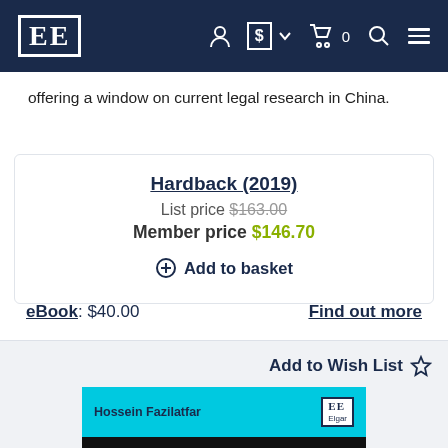EE [logo] navigation bar with user, currency ($), cart (0), search, menu icons
offering a window on current legal research in China.
Hardback (2019)
List price $163.00
Member price $146.70
⊕ Add to basket
eBook: $40.00    Find out more
Add to Wish List ☆
[Figure (photo): Book cover with cyan/blue background showing author name Hossein Fazilatfar and EE Elgar publisher logo, with black band at bottom]